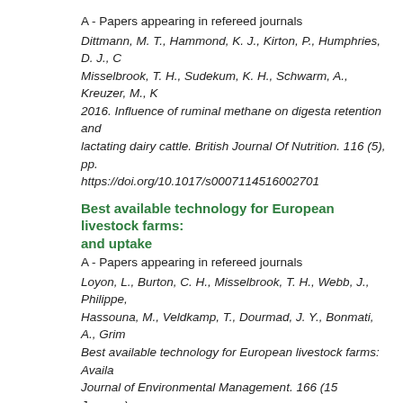A - Papers appearing in refereed journals
Dittmann, M. T., Hammond, K. J., Kirton, P., Humphries, D. J., C Misselbrook, T. H., Sudekum, K. H., Schwarm, A., Kreuzer, M., K 2016. Influence of ruminal methane on digesta retention and lactating dairy cattle. British Journal Of Nutrition. 116 (5), pp. https://doi.org/10.1017/s0007114516002701
Best available technology for European livestock farms: and uptake
A - Papers appearing in refereed journals
Loyon, L., Burton, C. H., Misselbrook, T. H., Webb, J., Philippe, Hassouna, M., Veldkamp, T., Dourmad, J. Y., Bonmati, A., Grim Best available technology for European livestock farms: Availa Journal of Environmental Management. 166 (15 January), pp. https://doi.org/10.1016/j.jenvman.2015.09.046
Development of emission factors and efficiency of two and DMPP
A - Papers appearing in refereed journals
Gilsanz, C., Baez, D., Misselbrook, T. H., Dhanoa, M. S. and Car